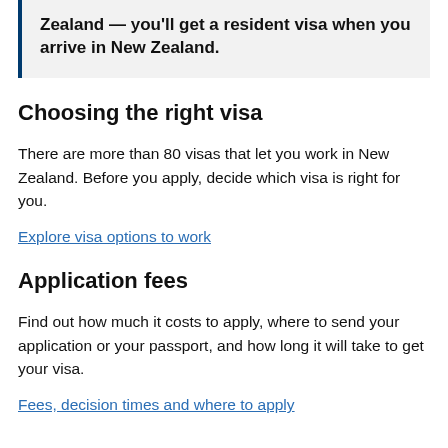Zealand — you'll get a resident visa when you arrive in New Zealand.
Choosing the right visa
There are more than 80 visas that let you work in New Zealand. Before you apply, decide which visa is right for you.
Explore visa options to work
Application fees
Find out how much it costs to apply, where to send your application or your passport, and how long it will take to get your visa.
Fees, decision times and where to apply